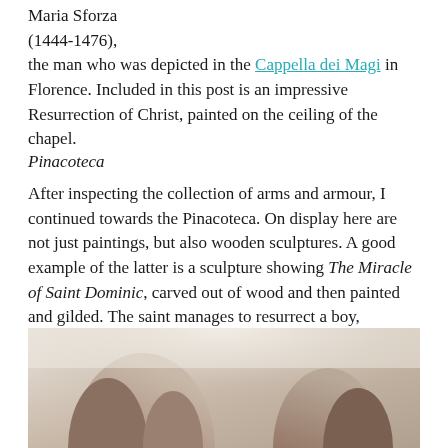Maria Sforza (1444-1476), the man who was depicted in the Cappella dei Magi in Florence. Included in this post is an impressive Resurrection of Christ, painted on the ceiling of the chapel.
Pinacoteca
After inspecting the collection of arms and armour, I continued towards the Pinacoteca. On display here are not just paintings, but also wooden sculptures. A good example of the latter is a sculpture showing The Miracle of Saint Dominic, carved out of wood and then painted and gilded. The saint manages to resurrect a boy, Napoleone Orsini, who has been trampled by a horse. The miracle can be seen on the left, the accident with the horse on the right. The work is attributed to the Fratelli De Donati and can be dated to 1495-1500.
[Figure (photo): Photograph of wooden sculptural figures, partially visible at the bottom of the page, showing carved figures from the sculpture The Miracle of Saint Dominic.]